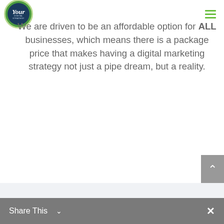[Figure (logo): Your Digital Marketing Strategy circular logo with green border, dark blue center, 'Your' in italic white text]
We are driven to be an affordable option for ALL businesses, which means there is a package price that makes having a digital marketing strategy not just a pipe dream, but a reality.
Share This  ×